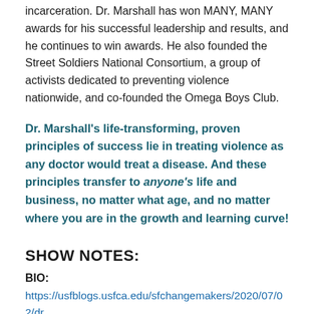incarceration. Dr. Marshall has won MANY, MANY awards for his successful leadership and results, and he continues to win awards. He also founded the Street Soldiers National Consortium, a group of activists dedicated to preventing violence nationwide, and co-founded the Omega Boys Club.
Dr. Marshall's life-transforming, proven principles of success lie in treating violence as any doctor would treat a disease. And these principles transfer to anyone's life and business, no matter what age, and no matter where you are in the growth and learning curve!
SHOW NOTES:
BIO:
https://usfblogs.usfca.edu/sfchangemakers/2020/07/02/dr joseph-marshall/